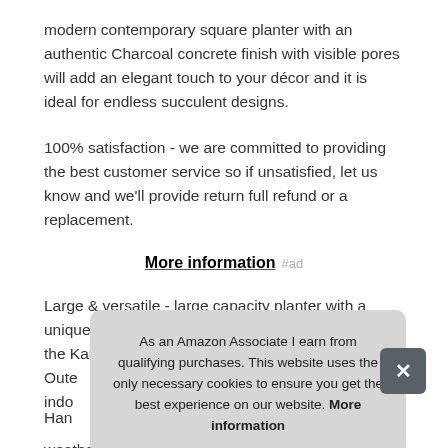modern contemporary square planter with an authentic Charcoal concrete finish with visible pores will add an elegant touch to your décor and it is ideal for endless succulent designs.
100% satisfaction - we are committed to providing the best customer service so if unsatisfied, let us know and we'll provide return full refund or a replacement.
More information #ad
Large & versatile - large capacity planter with a unique commercial and Residential design, porch, the Kante planters will [partially obscured] Oute[partially obscured] indo[partially obscured]
As an Amazon Associate I earn from qualifying purchases. This website uses the only necessary cookies to ensure you get the best experience on our website. More information
Han[partially obscured]
weather resistant fiberclagg that have all the advantages of